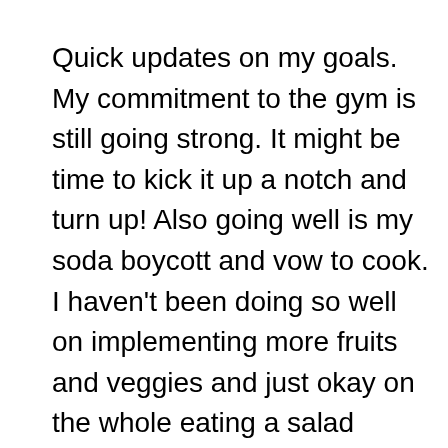Quick updates on my goals. My commitment to the gym is still going strong. It might be time to kick it up a notch and turn up! Also going well is my soda boycott and vow to cook. I haven't been doing so well on implementing more fruits and veggies and just okay on the whole eating a salad everyday thing. My budgeting and money management is going well with a few minor surprises here and there. Nevertheless my three goals to stay healthy, stay educated and practice good money management are progressing.
“Ultimately it was about letting all of you have that space to delve deeper into your souls and learn what is it that makes you tick and